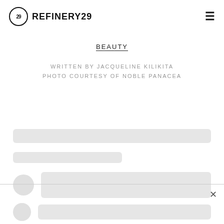REFINERY29
BEAUTY
WRITTEN BY JACQUELINE KILIKITA
PHOTO COURTESY OF NOBLE PANACEA
[Figure (other): Skeleton loading placeholder UI with gray bars and circles indicating loading content]